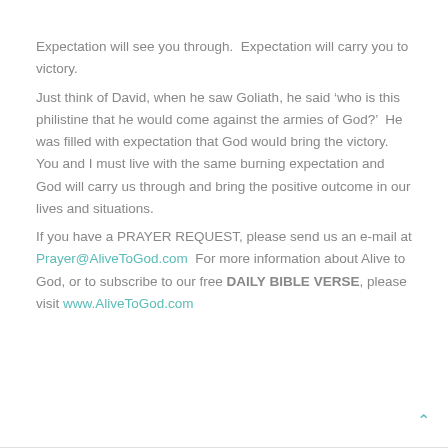Expectation will see you through.  Expectation will carry you to victory.
Just think of David, when he saw Goliath, he said ‘who is this philistine that he would come against the armies of God?’  He was filled with expectation that God would bring the victory. You and I must live with the same burning expectation and God will carry us through and bring the positive outcome in our lives and situations.
If you have a PRAYER REQUEST, please send us an e-mail at Prayer@AliveToGod.com  For more information about Alive to God, or to subscribe to our free DAILY BIBLE VERSE, please visit www.AliveToGod.com